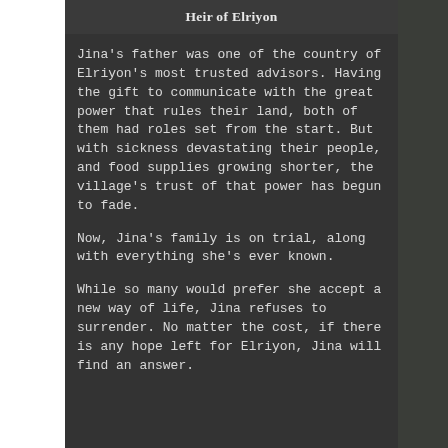Heir of Elriyon
Jina's father was one of the country of Elriyon's most trusted advisors. Having the gift to communicate with the great power that rules their land, both of them had roles set from the start. But with sickness devastating their people, and food supplies growing shorter, the village's trust of that power has begun to fade.
Now, Jina's family is on trial, along with everything she's ever known.
While so many would prefer she accept a new way of life, Jina refuses to surrender. No matter the cost, if there is any hope left for Elriyon, Jina will find an answer.